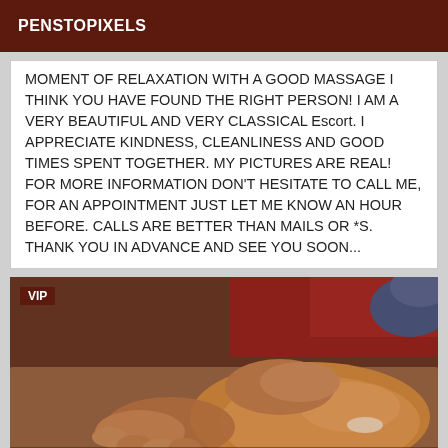PENSTOPIXELS
MOMENT OF RELAXATION WITH A GOOD MASSAGE I THINK YOU HAVE FOUND THE RIGHT PERSON! I AM A VERY BEAUTIFUL AND VERY CLASSICAL Escort. I APPRECIATE KINDNESS, CLEANLINESS AND GOOD TIMES SPENT TOGETHER. MY PICTURES ARE REAL! FOR MORE INFORMATION DON'T HESITATE TO CALL ME, FOR AN APPOINTMENT JUST LET ME KNOW AN HOUR BEFORE. CALLS ARE BETTER THAN MAILS OR *S. THANK YOU IN ADVANCE AND SEE YOU SOON...
[Figure (photo): Close-up photo of hands performing a massage on oiled skin, with red fabric in background. VIP badge in top-left corner.]